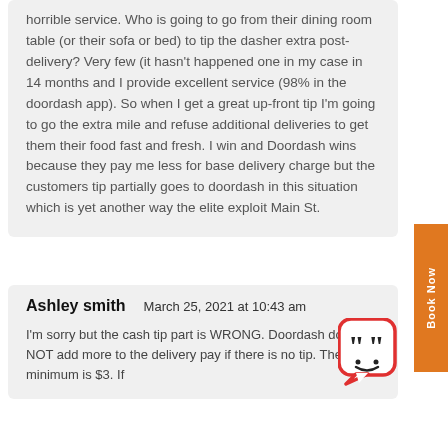horrible service. Who is going to go from their dining room table (or their sofa or bed) to tip the dasher extra post-delivery? Very few (it hasn't happened one in my case in 14 months and I provide excellent service (98% in the doordash app). So when I get a great up-front tip I'm going to go the extra mile and refuse additional deliveries to get them their food fast and fresh. I win and Doordash wins because they pay me less for base delivery charge but the customers tip partially goes to doordash in this situation which is yet another way the elite exploit Main St.
Ashley smith    March 25, 2021 at 10:43 am
I'm sorry but the cash tip part is WRONG. Doordash does NOT add more to the delivery pay if there is no tip. Their minimum is $3. If